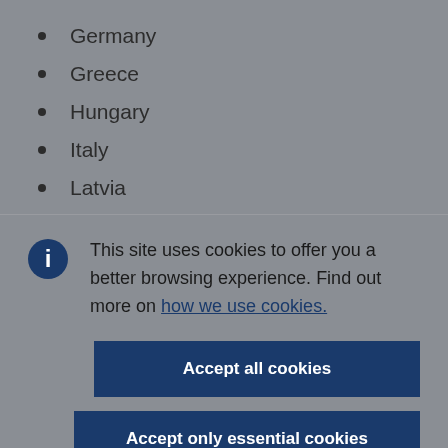Germany
Greece
Hungary
Italy
Latvia
This site uses cookies to offer you a better browsing experience. Find out more on how we use cookies.
Accept all cookies
Accept only essential cookies